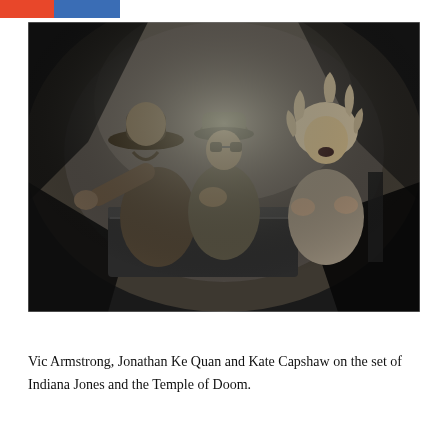[Figure (photo): Black and white photograph of three people emerging from a dark cavern or minecart setting. Left person wears a wide-brimmed hat and has arm extended forward. Center person wears a baseball cap and leans forward. Right person has curly hair and appears to be reacting with open mouth. Scene is from Indiana Jones and the Temple of Doom.]
Vic Armstrong, Jonathan Ke Quan and Kate Capshaw on the set of Indiana Jones and the Temple of Doom.